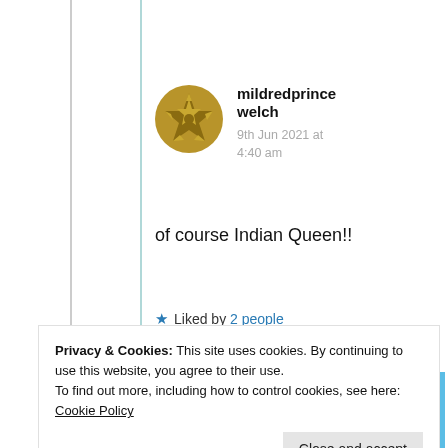[Figure (illustration): Golden decorative avatar icon with geometric star/compass rose pattern in dark yellow/gold color]
mildredprince welch
9th Jun 2021 at 4:40 am
of course Indian Queen!!
★ Liked by 2 people
Advertisements
[Figure (screenshot): Blue advertisement banner with small white dots and circular avatar icons at the bottom]
Privacy & Cookies: This site uses cookies. By continuing to use this website, you agree to their use.
To find out more, including how to control cookies, see here: Cookie Policy
Close and accept
The only journaling